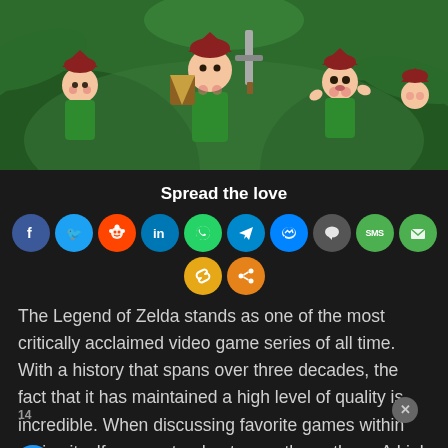[Figure (illustration): Animated elf/Link-like characters in green outfits with red hats, set against a green jungle background. One character holds a sword and shield.]
Spread the love
[Figure (infographic): Row of social media share buttons: Facebook, Twitter, Reddit, LinkedIn, WhatsApp, Telegram, Messenger, Chat, SMS, Email, and two more (copy link, share).]
The Legend of Zelda stands as one of the most critically acclaimed video game series of all time. With a history that spans over three decades, the fact that it has maintained a high level of quality is incredible. When discussing favorite games within series itself, some stand out more than others. A Link to the Past, Ocarina of Time, and Breath of the